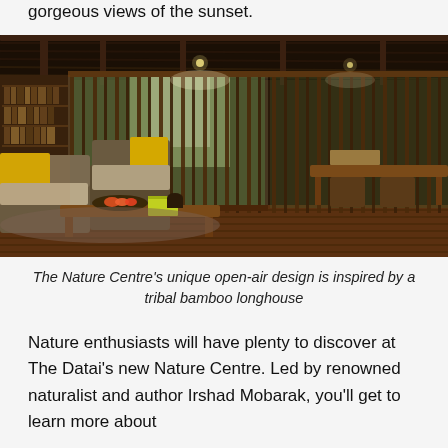gorgeous views of the sunset.
[Figure (photo): Interior of The Nature Centre at The Datai — open-air wooden structure with vertical timber screens/slats, rattan chairs with yellow cushions, wooden coffee table with a tray of fruit and a book, bookshelves on the left wall, a wooden dining table and stools on the right, thatched roof, and green trees visible through the open screens.]
The Nature Centre's unique open-air design is inspired by a tribal bamboo longhouse
Nature enthusiasts will have plenty to discover at The Datai's new Nature Centre. Led by renowned naturalist and author Irshad Mobarak, you'll get to learn more about